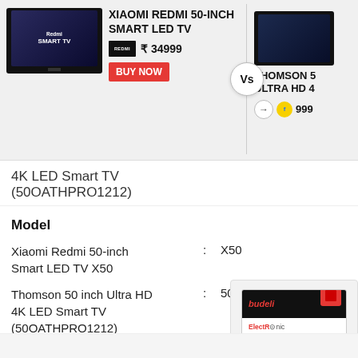[Figure (screenshot): Top comparison banner showing Xiaomi Redmi 50-inch Smart LED TV vs Thomson 50 Ultra HD 4K, with prices and BUY NOW button]
4K LED Smart TV (50OATHPRO1212)
Model
Xiaomi Redmi 50-inch Smart LED TV X50 : X50
Thomson 50 inch Ultra HD 4K LED Smart TV (50OATHPRO1212) : 500ATHPRO1212
DISPLAY FEATURES
Resolution (Horizontal X Vertical)
[Figure (illustration): ElectRonic Budget Bazza advertisement box with black top and red cube icon]